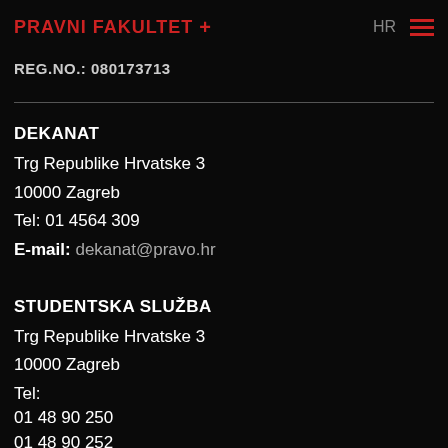PRAVNI FAKULTET + HR ☰
REG.NO.: 080173713
DEKANAT
Trg Republike Hrvatske 3
10000 Zagreb
Tel: 01 4564 309
E-mail: dekanat@pravo.hr
STUDENTSKA SLUŽBA
Trg Republike Hrvatske 3
10000 Zagreb
Tel:
01 48 90 250
01 48 90 252